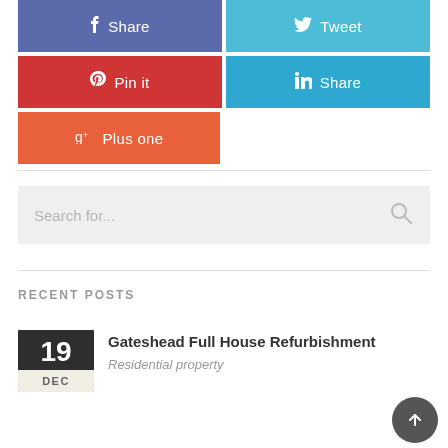[Figure (infographic): Social share buttons: Facebook Share (purple-blue), Twitter Tweet (light blue), Pinterest Pin it (red), LinkedIn Share (blue), Google+ Plus one (orange-red)]
[Figure (screenshot): Search bar with placeholder text 'Search for...' and a magnifying glass icon on grey background]
RECENT POSTS
[Figure (infographic): Date badge showing 19 DEC in dark grey/charcoal box with cream bottom for month]
Gateshead Full House Refurbishment
Residential property